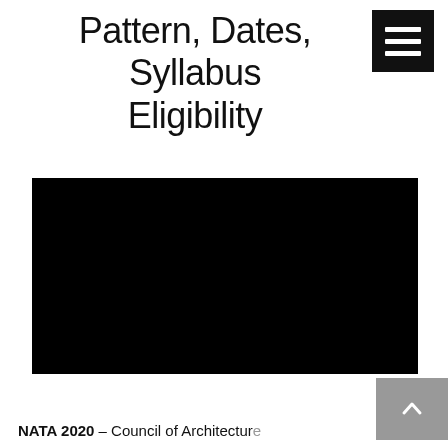Pattern, Dates, Syllabus Eligibility
[Figure (photo): Black rectangle representing an embedded video or image placeholder]
NATA 2020 – Council of Architecture